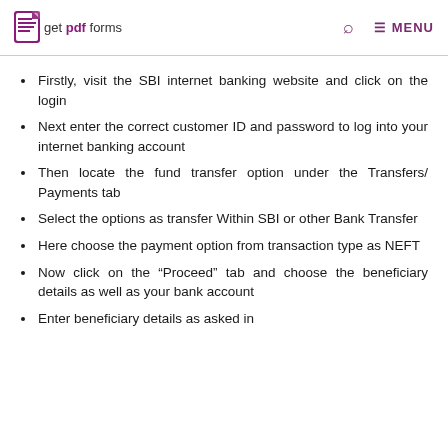get pdf forms  [search] [MENU]
Firstly, visit the SBI internet banking website and click on the login
Next enter the correct customer ID and password to log into your internet banking account
Then locate the fund transfer option under the Transfers/ Payments tab
Select the options as transfer Within SBI or other Bank Transfer
Here choose the payment option from transaction type as NEFT
Now click on the “Proceed” tab and choose the beneficiary details as well as your bank account
Enter beneficiary details as asked in